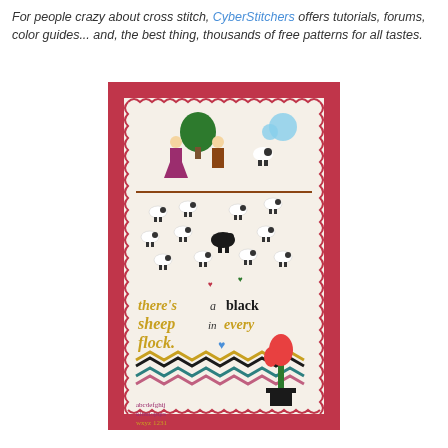For people crazy about cross stitch, CyberStitchers offers tutorials, forums, color guides... and, the best thing, thousands of free patterns for all tastes.
[Figure (photo): A cross-stitch sampler featuring sheep, a tree, two figures (boy and girl), zigzag borders in multiple colors, and text reading 'there's a black sheep in every flock' along with alphabet letters and numbers, surrounded by a pink scalloped border.]